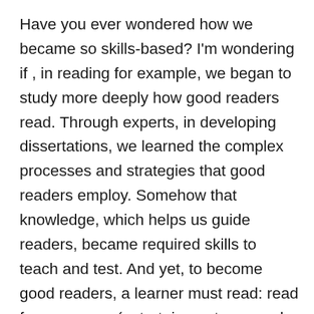Have you ever wondered how we became so skills-based? I'm wondering if , in reading for example, we began to study more deeply how good readers read. Through experts, in developing dissertations, we learned the complex processes and strategies that good readers employ. Somehow that knowledge, which helps us guide readers, became required skills to teach and test. And yet, to become good readers, a learner must read: read for a purpose (entertainment, research, opinions) and read to learn. Now, we teach reading skills through eighth grade and what do we have? Low Test Scores. What if, once students learned the essence of decoding, we let them read for their own reasons and suggested strategies when they needed them? What if the test were the ability to use reading — not do the skill — but to use reading as one of the strategies to learn and solve problems?